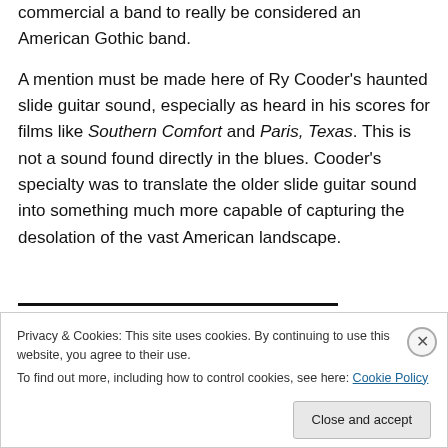commercial a band to really be considered an American Gothic band.
A mention must be made here of Ry Cooder's haunted slide guitar sound, especially as heard in his scores for films like Southern Comfort and Paris, Texas. This is not a sound found directly in the blues. Cooder's specialty was to translate the older slide guitar sound into something much more capable of capturing the desolation of the vast American landscape.
Privacy & Cookies: This site uses cookies. By continuing to use this website, you agree to their use.
To find out more, including how to control cookies, see here: Cookie Policy